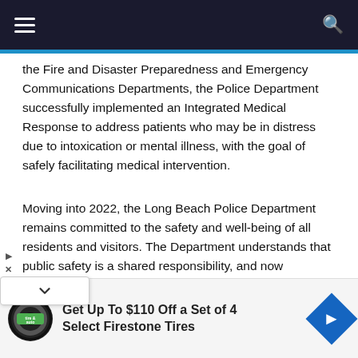Navigation bar with menu and search icons
the Fire and Disaster Preparedness and Emergency Communications Departments, the Police Department successfully implemented an Integrated Medical Response to address patients who may be in distress due to intoxication or mental illness, with the goal of safely facilitating medical intervention.
Moving into 2022, the Long Beach Police Department remains committed to the safety and well-being of all residents and visitors. The Department understands that public safety is a shared responsibility, and now
[Figure (other): Advertisement banner: Get Up To $110 Off a Set of 4 Select Firestone Tires, with Firestone tire & auto logo and blue direction sign arrow icon]